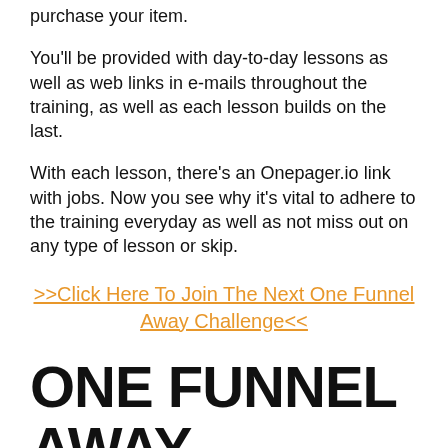purchase your item.
You'll be provided with day-to-day lessons as well as web links in e-mails throughout the training, as well as each lesson builds on the last.
With each lesson, there's an Onepager.io link with jobs. Now you see why it's vital to adhere to the training everyday as well as not miss out on any type of lesson or skip.
>>Click Here To Join The Next One Funnel Away Challenge<<
ONE FUNNEL AWAY CHALLENGE KIT